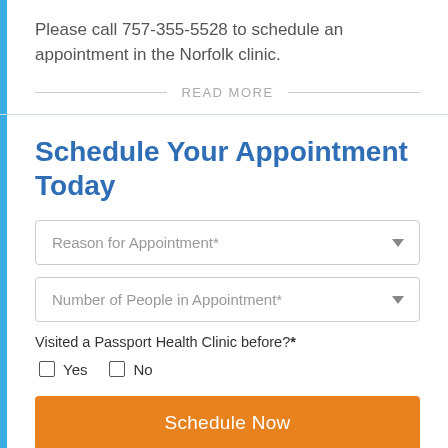Please call 757-355-5528 to schedule an appointment in the Norfolk clinic.
READ MORE
Schedule Your Appointment Today
Reason for Appointment*
Number of People in Appointment*
Visited a Passport Health Clinic before?*
Yes  No
Schedule Now